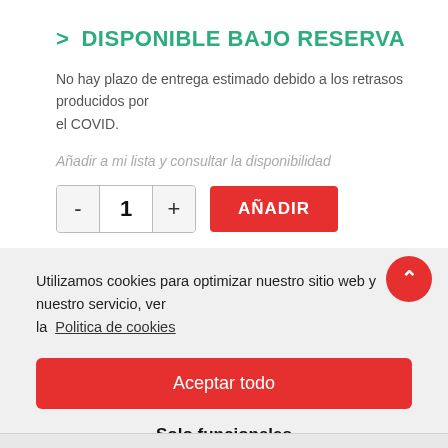> DISPONIBLE BAJO RESERVA
No hay plazo de entrega estimado debido a los retrasos producidos por el COVID.
Añadir a mi lista y consultar la disponibilidad
- 1 + AÑADIR
Utilizamos cookies para optimizar nuestro sitio web y nuestro servicio, ver la Politica de cookies
Aceptar todo
Solo funcionales
Ver preferencias